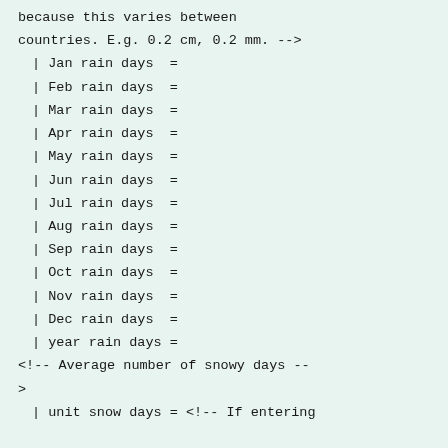because this varies between
countries. E.g. 0.2 cm, 0.2 mm. -->
| Jan rain days  =
| Feb rain days  =
| Mar rain days  =
| Apr rain days  =
| May rain days  =
| Jun rain days  =
| Jul rain days  =
| Aug rain days  =
| Sep rain days  =
| Oct rain days  =
| Nov rain days  =
| Dec rain days  =
| year rain days =
<!-- Average number of snowy days --
>
| unit snow days = <!-- If entering